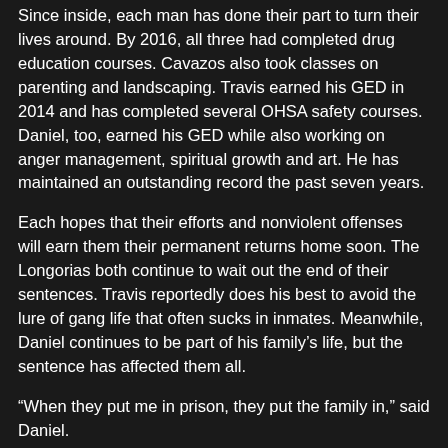Since inside, each man has done their part to turn their lives around. By 2016, all three had completed drug education courses. Cavazos also took classes on parenting and landscaping. Travis earned his GED in 2014 and has completed several OHSA safety courses. Daniel, too, earned his GED while also working on anger management, spiritual growth and art. He has maintained an outstanding record the past seven years.
Each hopes that their efforts and nonviolent offenses will earn them their permanent returns home soon. The Longorias both continue to wait out the end of their sentences. Travis reportedly does his best to avoid the lure of gang life that often sucks in inmates. Meanwhile, Daniel continues to be part of his family’s life, but the sentence has affected them all.
“When they put me in prison, they put the family in,” said Daniel.
The effects have been most noticeable on his two youngest children, with his 15-year-old daughter Lexy attempting to